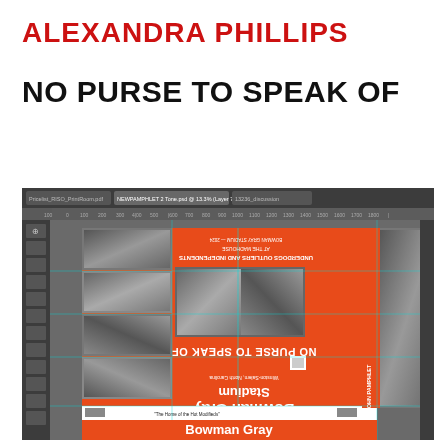ALEXANDRA PHILLIPS
NO PURSE TO SPEAK OF
[Figure (screenshot): Photoshop screenshot showing a racing pamphlet design in progress — the document 'NEWPAMPHLET 2 Tone.psd' at 13.3% zoom showing an orange racing event pamphlet for Bowman Gray Stadium with upside-down text reading 'NO PURSE TO SPEAK OF' and black-and-white racing car photos, with Photoshop toolbars, rulers, and cyan guide lines visible.]